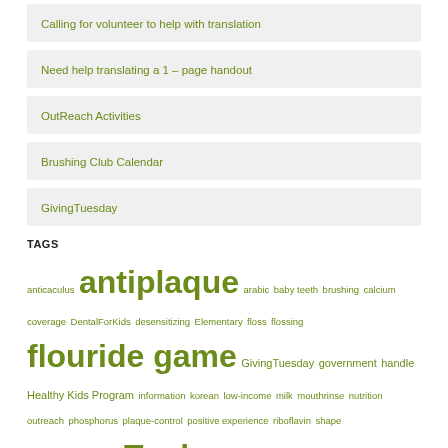Calling for volunteer to help with translation
Need help translating a 1 – page handout
OutReach Activities
Brushing Club Calendar
GivingTuesday
TAGS
anticaculus antiplaque arabic baby teeth brushing calcium coverage DentalForKids desensitizing Elementary floss flossing flouride game GivingTuesday government handle Healthy Kids Program information korean low-income milk mouthrinse nutrition outreach phosphorus plaque-control positive experience riboflavin shape spanish special tagalog Tools toothbrush toothpaste translation uncooperative vitamin D volunteer whitening